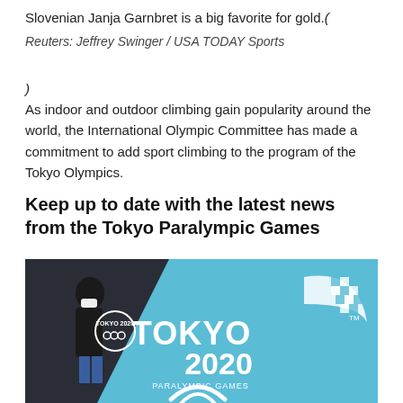Slovenian Janja Garnbret is a big favorite for gold.(
Reuters: Jeffrey Swinger / USA TODAY Sports
)
As indoor and outdoor climbing gain popularity around the world, the International Olympic Committee has made a commitment to add sport climbing to the program of the Tokyo Olympics.
Keep up to date with the latest news from the Tokyo Paralympic Games
[Figure (photo): A person wearing a face mask stands in front of a large Tokyo 2020 Paralympic Games banner/advertisement with the Tokyo 2020 logo and the Agitos Paralympic symbol on a light blue background.]